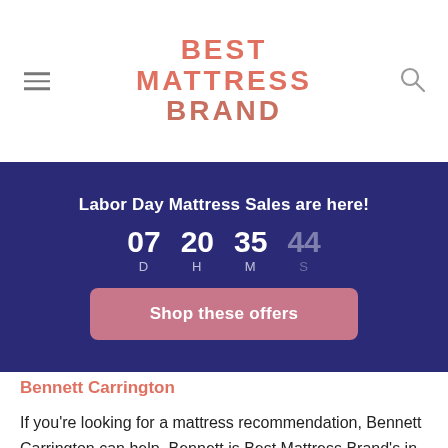BEST MATTRESS BRAND
[Figure (infographic): Dark blue promotional banner: 'Labor Day Mattress Sales are here!' with countdown timer showing 07 D, 20 H, 35 M, 44 S and a pink 'Shop these offers' button]
Bennett Carrington
If you're looking for a mattress recommendation, Bennett Carrington can help. Bennett is Best Mattress Brand's in-house mattress expert. He's curated dozens of "best mattress" articles with buying tips for sleepers with a wide range of needs. Whether you're plagued with back pain or suffering